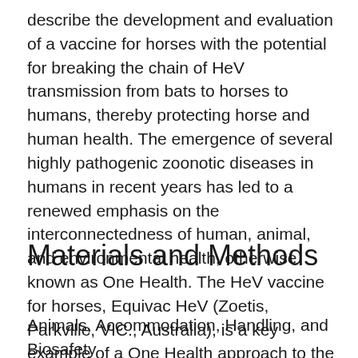describe the development and evaluation of a vaccine for horses with the potential for breaking the chain of HeV transmission from bats to horses to humans, thereby protecting horse and human health. The emergence of several highly pathogenic zoonotic diseases in humans in recent years has led to a renewed emphasis on the interconnectedness of human, animal, and environmental health, otherwise known as One Health. The HeV vaccine for horses, Equivac HeV (Zoetis, Parkville, VIC., Australia), is a key example of a One Health approach to the control of human disease (12).
Materials and Methods
Animals, Accommodation, Handling, and Biosafety